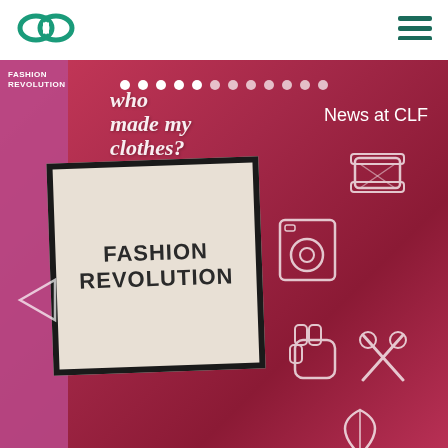[Figure (logo): CLF infinity loop logo in green/teal]
[Figure (illustration): Hamburger menu icon with three horizontal green lines]
[Figure (photo): Fashion Revolution event photo: a sign reading FASHION REVOLUTION on a pink/red background with icons like scissors, thread spool, fist, washing machine, leaf. Script text 'who made my clothes?' visible in upper area. Navigation dots and 'News at CLF' overlay text.]